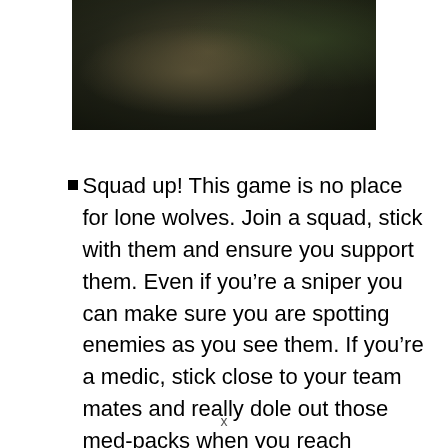[Figure (photo): Dark screenshot from a military/war video game showing soldiers in combat gear in a forested/outdoor environment. The image is dark-toned with greenish-brown hues.]
Squad up! This game is no place for lone wolves. Join a squad, stick with them and ensure you support them. Even if you're a sniper you can make sure you are spotting enemies as you see them. If you're a medic, stick close to your team mates and really dole out those med-packs when you reach significant choke
x